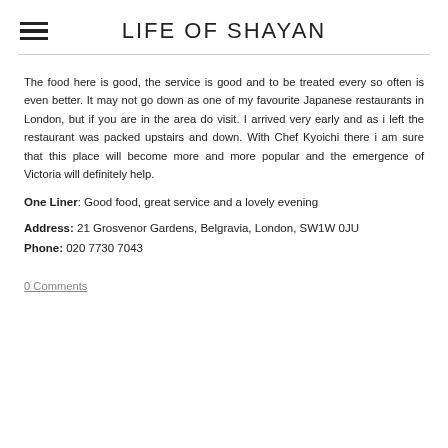LIFE OF SHAYAN
The food here is good, the service is good and to be treated every so often is even better. It may not go down as one of my favourite Japanese restaurants in London, but if you are in the area do visit. I arrived very early and as i left the restaurant was packed upstairs and down. With Chef Kyoichi there i am sure that this place will become more and more popular and the emergence of Victoria will definitely help.
One Liner: Good food, great service and a lovely evening
Address: 21 Grosvenor Gardens, Belgravia, London, SW1W 0JU
Phone: 020 7730 7043
0 Comments